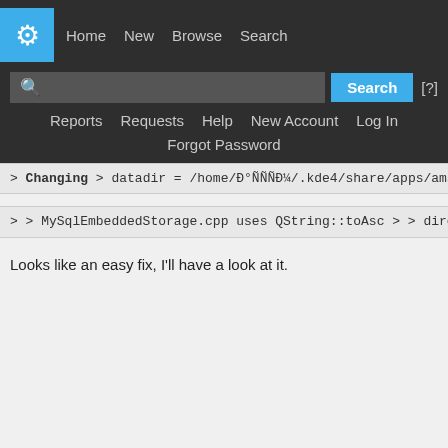KDE navbar: Home, New, Browse, Search, Reports, Requests, Help, New Account, Log In, Forgot Password
> Changing
> datadir = /home/Ð°ÑÑÑÐ¼/.kde4/share/apps/amaro
> to
> datadir = /home/артём/.kde4/share/apps/amarok/
>
> does not work.
> > MySqlEmbeddedStorage.cpp uses QString::toAsc
> > directory location from memory to my.cnf.
Looks like an easy fix, I'll have a look at it.